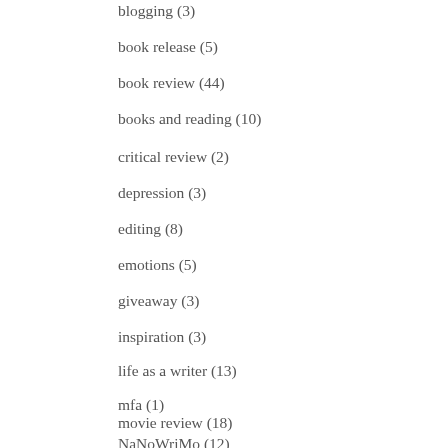blogging (3)
book release (5)
book review (44)
books and reading (10)
critical review (2)
depression (3)
editing (8)
emotions (5)
giveaway (3)
inspiration (3)
life as a writer (13)
mfa (1)
movie review (18)
NaNoWriMo (12)